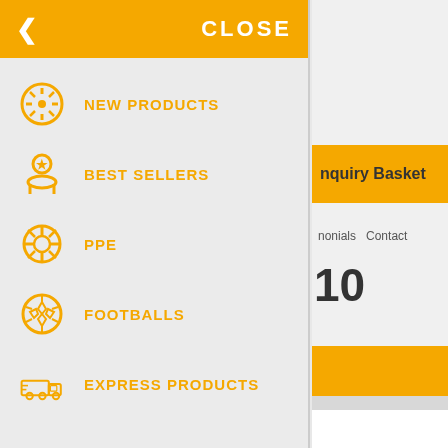[Figure (screenshot): Mobile app navigation menu overlay with orange header bar showing CLOSE button and back arrow, followed by menu items: NEW PRODUCTS, BEST SELLERS, PPE, FOOTBALLS, EXPRESS PRODUCTS, each with orange icons]
NEW PRODUCTS
BEST SELLERS
PPE
FOOTBALLS
EXPRESS PRODUCTS
nquiry Basket
nonials   Contact
10